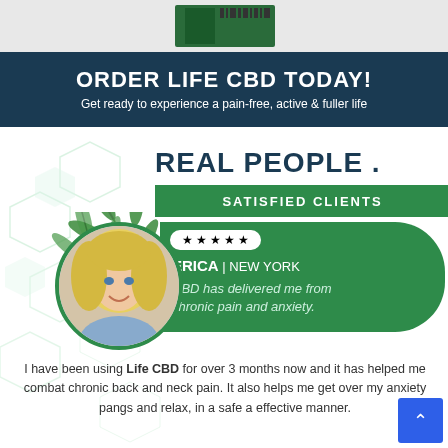[Figure (photo): Partial view of a product image at top of page]
ORDER LIFE CBD TODAY!
Get ready to experience a pain-free, active & fuller life
REAL PEOPLE .
SATISFIED CLIENTS
[Figure (photo): Circular profile photo of a blonde woman smiling, with cannabis leaves decorative elements]
★★★★★
ERICA | NEW YORK
CBD has delivered me from chronic pain and anxiety.
I have been using Life CBD for over 3 months now and it has helped me combat chronic back and neck pain. It also helps me get over my anxiety pangs and relax, in a safe and effective manner.